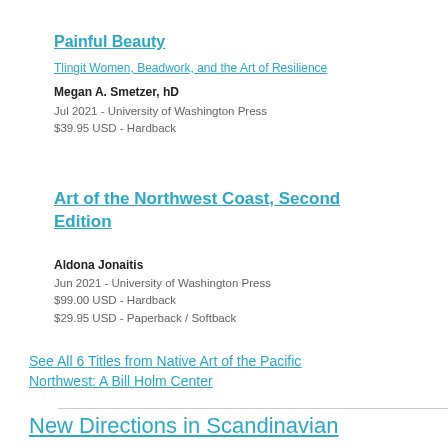Painful Beauty
Tlingit Women, Beadwork, and the Art of Resilience
Megan A. Smetzer, hD
Jul 2021 - University of Washington Press
$39.95 USD - Hardback
Art of the Northwest Coast, Second Edition
Aldona Jonaitis
Jun 2021 - University of Washington Press
$99.00 USD - Hardback
$29.95 USD - Paperback / Softback
See All 6 Titles from Native Art of the Pacific Northwest: A Bill Holm Center
New Directions in Scandinavian